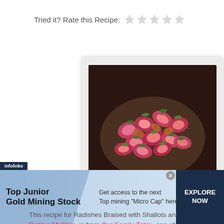Tried it? Rate this Recipe: ★★★★★
[Figure (photo): Bowl of braised radishes with shallots, garnished with fresh herbs (cilantro/parsley), showing red/pink radish pieces in a dark ceramic bowl.]
This recipe for Radishes Braised with Shallots and Vinegar, by Debbie McGhie, is from Our Family Table, one of the
[Figure (infographic): Infolinks advertisement banner: 'Top Junior Gold Mining Stock — Get access to the next Top mining "Micro Cap" here! EXPLORE NOW']